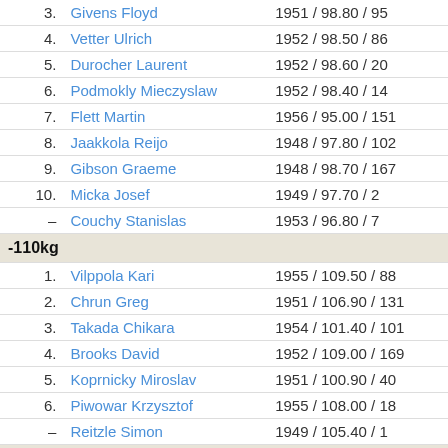| Rank | Name | Year / Weight / Number |
| --- | --- | --- |
| 3. | Givens Floyd | 1951 / 98.80 / 95 |
| 4. | Vetter Ulrich | 1952 / 98.50 / 86 |
| 5. | Durocher Laurent | 1952 / 98.60 / 20 |
| 6. | Podmokly Mieczyslaw | 1952 / 98.40 / 14 |
| 7. | Flett Martin | 1956 / 95.00 / 151 |
| 8. | Jaakkola Reijo | 1948 / 97.80 / 102 |
| 9. | Gibson Graeme | 1948 / 98.70 / 167 |
| 10. | Micka Josef | 1949 / 97.70 / 2 |
| – | Couchy Stanislas | 1953 / 96.80 / 7 |
| -110kg |  |  |
| 1. | Vilppola Kari | 1955 / 109.50 / 88 |
| 2. | Chrun Greg | 1951 / 106.90 / 131 |
| 3. | Takada Chikara | 1954 / 101.40 / 101 |
| 4. | Brooks David | 1952 / 109.00 / 169 |
| 5. | Koprnicky Miroslav | 1951 / 100.90 / 40 |
| 6. | Piwowar Krzysztof | 1955 / 108.00 / 18 |
| – | Reitzle Simon | 1949 / 105.40 / 1 |
| -125kg |  |  |
| 1. | Klinger Bradley | 1956 / 121.10 / 134 |
| 2. | Dufour Michel | 1955 / 123.50 / 138 |
| 3. | Hutchinson Kevin | 1954 / 122.00 / 58 |
| 4. | Nygaard Truls | 1956 / 117.50 / 72 |
| – | Massey Julian | 1956 / 115.10 / 154 |